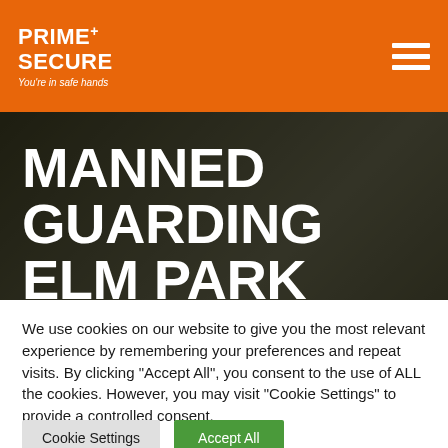PRIME+ SECURE — You're in safe hands
MANNED GUARDING ELM PARK
Are you trying to find Elm Park manned safeguarding
We use cookies on our website to give you the most relevant experience by remembering your preferences and repeat visits. By clicking "Accept All", you consent to the use of ALL the cookies. However, you may visit "Cookie Settings" to provide a controlled consent.
Cookie Settings
Accept All